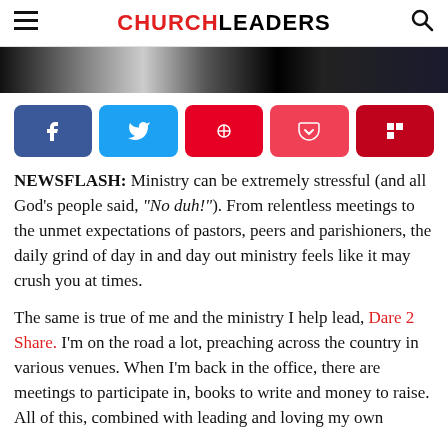CHURCHLEADERS
[Figure (screenshot): Partial dark image strip at top of article]
[Figure (infographic): Social sharing buttons: Facebook, Twitter, Pinterest, Pocket, Flipboard]
NEWSFLASH: Ministry can be extremely stressful (and all God's people said, “No duh!”). From relentless meetings to the unmet expectations of pastors, peers and parishioners, the daily grind of day in and day out ministry feels like it may crush you at times.
The same is true of me and the ministry I help lead, Dare 2 Share. I’m on the road a lot, preaching across the country in various venues. When I’m back in the office, there are meetings to participate in, books to write and money to raise. All of this, combined with leading and loving my own